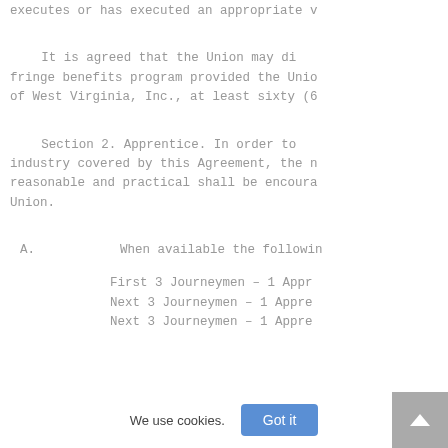executes or has executed an appropriate w
It is agreed that the Union may di fringe benefits program provided the Unio of West Virginia, Inc., at least sixty (6
Section 2. Apprentice. In order to industry covered by this Agreement, the n reasonable and practical shall be encoura Union.
A.      When available the followin
First 3 Journeymen – 1 Appr
Next 3 Journeymen – 1 Appre
Next 3 Journeymen – 1 Appre